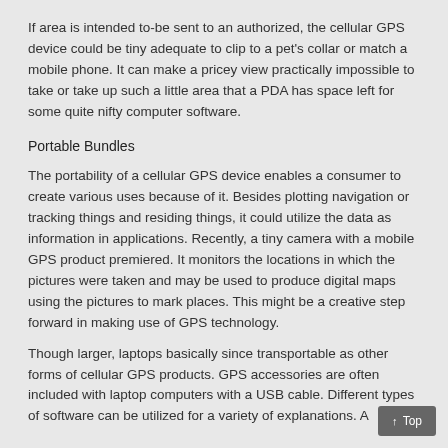If area is intended to-be sent to an authorized, the cellular GPS device could be tiny adequate to clip to a pet's collar or match a mobile phone. It can make a pricey view practically impossible to take or take up such a little area that a PDA has space left for some quite nifty computer software.
Portable Bundles
The portability of a cellular GPS device enables a consumer to create various uses because of it. Besides plotting navigation or tracking things and residing things, it could utilize the data as information in applications. Recently, a tiny camera with a mobile GPS product premiered. It monitors the locations in which the pictures were taken and may be used to produce digital maps using the pictures to mark places. This might be a creative step forward in making use of GPS technology.
Though larger, laptops basically since transportable as other forms of cellular GPS products. GPS accessories are often included with laptop computers with a USB cable. Different types of software can be utilized for a variety of explanations. A